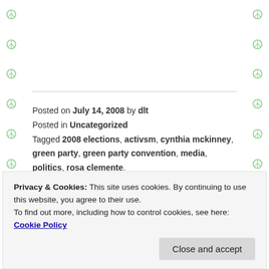Posted on July 14, 2008 by dlt
Posted in Uncategorized
Tagged 2008 elections, activsm, cynthia mckinney, green party, green party convention, media, politics, rosa clemente.
Leave a comment
C-Span Coverage of
Privacy & Cookies: This site uses cookies. By continuing to use this website, you agree to their use.
To find out more, including how to control cookies, see here: Cookie Policy
Close and accept